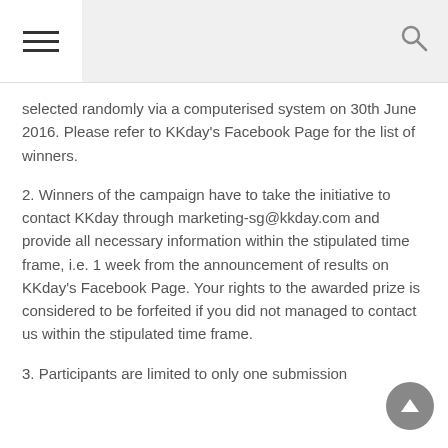[Figure (other): Navigation bar with hamburger menu icon on left and search icon on right]
selected randomly via a computerised system on 30th June 2016. Please refer to KKday's Facebook Page for the list of winners.
2. Winners of the campaign have to take the initiative to contact KKday through marketing-sg@kkday.com and provide all necessary information within the stipulated time frame, i.e. 1 week from the announcement of results on KKday's Facebook Page. Your rights to the awarded prize is considered to be forfeited if you did not managed to contact us within the stipulated time frame.
3. Participants are limited to only one submission